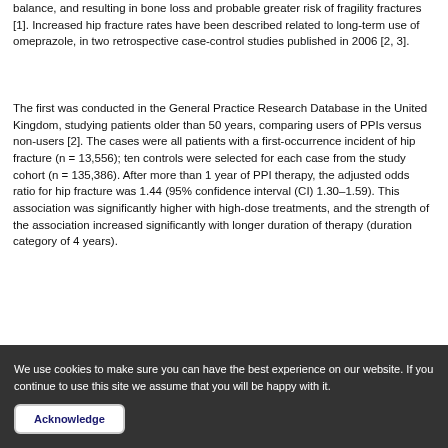balance, and resulting in bone loss and probable greater risk of fragility fractures [1]. Increased hip fracture rates have been described related to long-term use of omeprazole, in two retrospective case-control studies published in 2006 [2, 3].
The first was conducted in the General Practice Research Database in the United Kingdom, studying patients older than 50 years, comparing users of PPIs versus non-users [2]. The cases were all patients with a first-occurrence incident of hip fracture (n = 13,556); ten controls were selected for each case from the study cohort (n = 135,386). After more than 1 year of PPI therapy, the adjusted odds ratio for hip fracture was 1.44 (95% confidence interval (CI) 1.30–1.59). This association was significantly higher with high-dose treatments, and the strength of the association increased significantly with longer duration of therapy (duration category of 4 years).
We use cookies to make sure you can have the best experience on our website. If you continue to use this site we assume that you will be happy with it.
Acknowledge